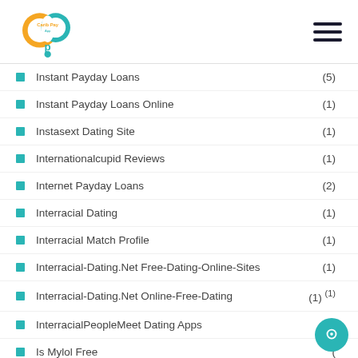Carib Pay App
Instant Payday Loans (5)
Instant Payday Loans Online (1)
Instasext Dating Site (1)
Internationalcupid Reviews (1)
Internet Payday Loans (2)
Interracial Dating (1)
Interracial Match Profile (1)
Interracial-Dating.Net Free-Dating-Online-Sites (1)
Interracial-Dating.Net Online-Free-Dating (1)
InterracialPeopleMeet Dating Apps (1)
Is Mylol Free (1)